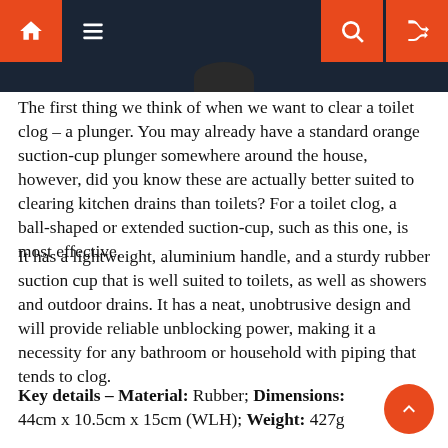Navigation bar with home, menu, search, and shuffle icons
The first thing we think of when we want to clear a toilet clog – a plunger. You may already have a standard orange suction-cup plunger somewhere around the house, however, did you know these are actually better suited to clearing kitchen drains than toilets? For a toilet clog, a ball-shaped or extended suction-cup, such as this one, is most effective.
It has a lightweight, aluminium handle, and a sturdy rubber suction cup that is well suited to toilets, as well as showers and outdoor drains. It has a neat, unobtrusive design and will provide reliable unblocking power, making it a necessity for any bathroom or household with piping that tends to clog.
Key details – Material: Rubber; Dimensions: 44cm x 10.5cm x 15cm (WLH); Weight: 427g